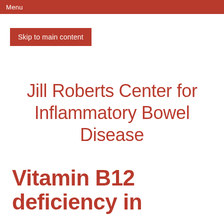Menu
Skip to main content
Jill Roberts Center for Inflammatory Bowel Disease
Vitamin B12 deficiency in